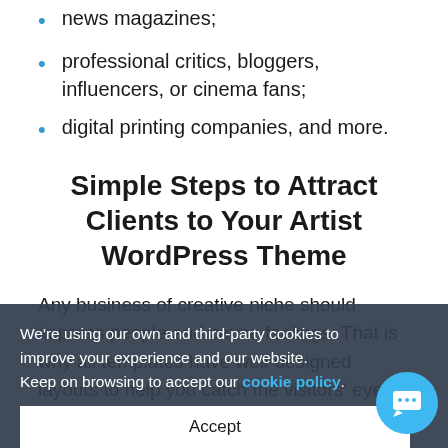news magazines;
professional critics, bloggers, influencers, or cinema fans;
digital printing companies, and more.
Simple Steps to Attract Clients to Your Artist WordPress Theme
Any business of creative niche should impress people and cause feelings. That is why all templates have well-designed layouts to help you catch the visitors' eye and make them enjoy your works of services. Beyond the high-quality design, you can present the information that attracts people to you...
1.S... should be simple and clear for visitors. It will